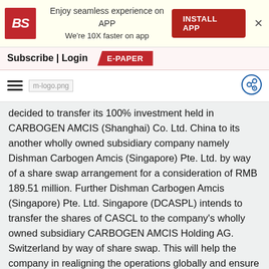[Figure (logo): Business Standard (BS) app promotion banner with red BS logo, text 'Enjoy seamless experience on APP / We're 10X faster on app', INSTALL APP button, and close X]
Subscribe | Login   E-PAPER
[Figure (logo): Mobile navigation bar with hamburger menu, m-logo.png placeholder, and share icon]
decided to transfer its 100% investment held in CARBOGEN AMCIS (Shanghai) Co. Ltd. China to its another wholly owned subsidiary company namely Dishman Carbogen Amcis (Singapore) Pte. Ltd. by way of a share swap arrangement for a consideration of RMB 189.51 million. Further Dishman Carbogen Amcis (Singapore) Pte. Ltd. Singapore (DCASPL) intends to transfer the shares of CASCL to the company's wholly owned subsidiary CARBOGEN AMCIS Holding AG. Switzerland by way of share swap. This will help the company in realigning the operations globally and ensure a more leaner and logical business structure.During the financial year ended 31 March 2018 Dishman Carbogen Amcis reinforced its philosophy of working towards achieving the vision of developing and manufacturing novel drugs which are niche in nature and are able to address the world requirements by making the drugs available on an affordable and sustainable basis. The company's focus was to ensure that the operating margins are sustained in the financial year ending 31 March 2018 in spite of adverse macro and micro